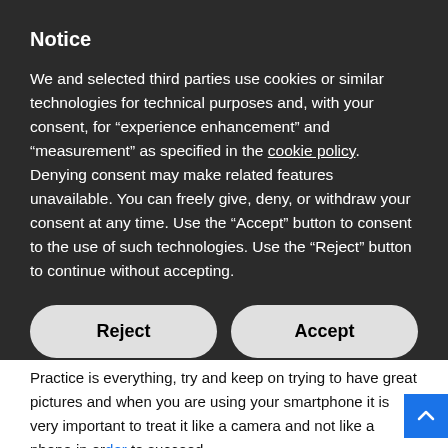Notice
We and selected third parties use cookies or similar technologies for technical purposes and, with your consent, for “experience enhancement” and “measurement” as specified in the cookie policy. Denying consent may make related features unavailable. You can freely give, deny, or withdraw your consent at any time. Use the “Accept” button to consent to the use of such technologies. Use the “Reject” button to continue without accepting.
Reject | Accept
Learn more and customize
Practice is everything, try and keep on trying to have great pictures and when you are using your smartphone it is very important to treat it like a camera and not like a phone in order to succeed.